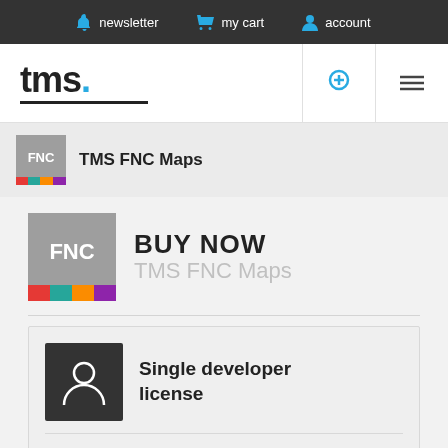newsletter  my cart  account
[Figure (logo): TMS logo with blue dot and underline]
[Figure (logo): TMS FNC Maps small badge with FNC text and colored bar]
TMS FNC Maps
BUY NOW
TMS FNC Maps
Single developer license
license for 1 developer
€ 195